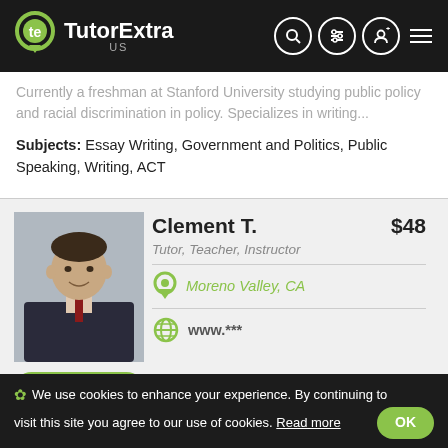TutorExtra US
Currently a freshman at Stanford University studying public policy and racial discrimination in policy. Specializes in writing...
Subjects: Essay Writing, Government and Politics, Public Speaking, Writing, ACT
Clement T. $48
Tutor, Teacher, Instructor
Moreno Valley, CA
www.***
[Figure (photo): Headshot photo of Clement T., a man in a dark suit with a red tie, smiling, against a light grey background]
Send Message
I am an Online SAT/ACT Tutor with almost 20 years' experience as a standardized examination www.***...  As an Employee of
✿ We use cookies to enhance your experience. By continuing to visit this site you agree to our use of cookies. Read more OK